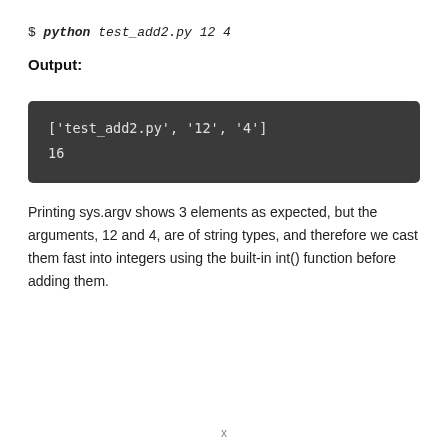$ python test_add2.py 12 4
Output:
['test_add2.py', '12', '4']
16
Printing sys.argv shows 3 elements as expected, but the arguments, 12 and 4, are of string types, and therefore we cast them fast into integers using the built-in int() function before adding them.
x